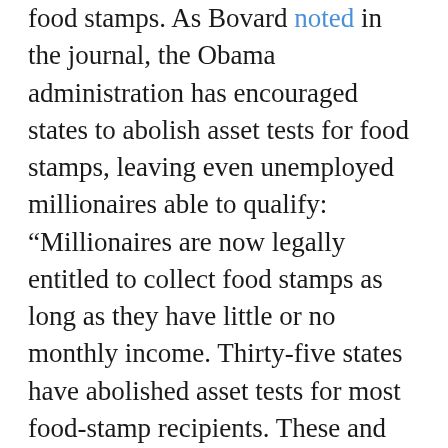food stamps. As Bovard noted in the journal, the Obama administration has encouraged states to abolish asset tests for food stamps, leaving even unemployed millionaires able to qualify: “Millionaires are now legally entitled to collect food stamps as long as they have little or no monthly income. Thirty-five states have abolished asset tests for most food-stamp recipients. These and similar ‘paperwork reduction’ reforms advocated by the United States Department of Agriculture (USDA) are turning the food-stamp program into a magnet for abuses and absurdities.” There are now a record 47 million people on food stamps.
As the Bloomberg article notes, some Republican lawmakers want able-bodied adult food stamp recipients “to abide by work